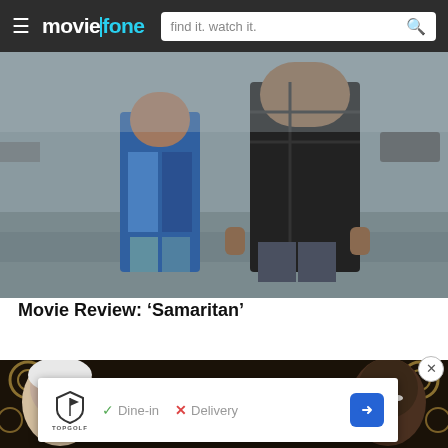moviefone — find it. watch it.
[Figure (photo): Movie still from Samaritan showing two people standing on a desolate outdoor location, one in a blue jacket, one in a dark plaid shirt]
Movie Review: ‘Samaritan’
[Figure (photo): Advertisement banner for 'Three Thousand Years of Longing' showing two actors against a dark patterned background with gold motifs]
[Figure (infographic): Topgolf popup ad showing Dine-in with checkmark and Delivery with X, plus navigation arrow button, with close X button]